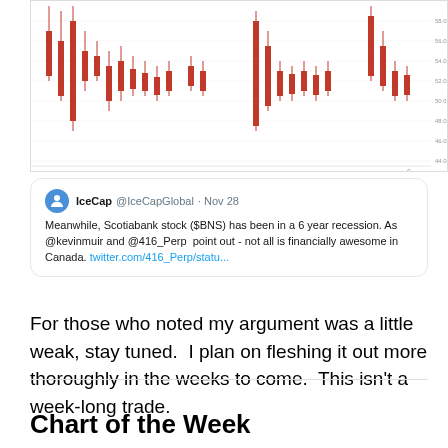[Figure (continuous-plot): Partial candlestick/OHLC stock chart showing price data for Scotiabank ($BNS) with red candlestick bars and a y-axis on the right side showing price levels. The chart is cropped at the top and shows the bottom portion of the chart.]
IceCap @IceCapGlobal · Nov 28
Meanwhile, Scotiabank stock ($BNS) has been in a 6 year recession. As @kevinmuir and @416_Perp  point out - not all is financially awesome in Canada. twitter.com/416_Perp/statu...
For those who noted my argument was a little weak, stay tuned.  I plan on fleshing it out more thoroughly in the weeks to come.  This isn't a week-long trade.
Chart of the Week